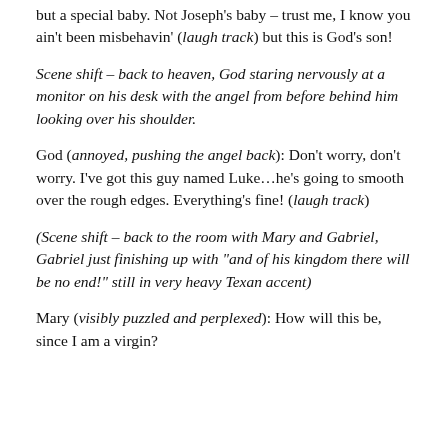but a special baby. Not Joseph's baby – trust me, I know you ain't been misbehavin' (laugh track) but this is God's son!
Scene shift – back to heaven, God staring nervously at a monitor on his desk with the angel from before behind him looking over his shoulder.
God (annoyed, pushing the angel back): Don't worry, don't worry. I've got this guy named Luke…he's going to smooth over the rough edges. Everything's fine! (laugh track)
(Scene shift – back to the room with Mary and Gabriel, Gabriel just finishing up with "and of his kingdom there will be no end!" still in very heavy Texan accent)
Mary (visibly puzzled and perplexed): How will this be, since I am a virgin?